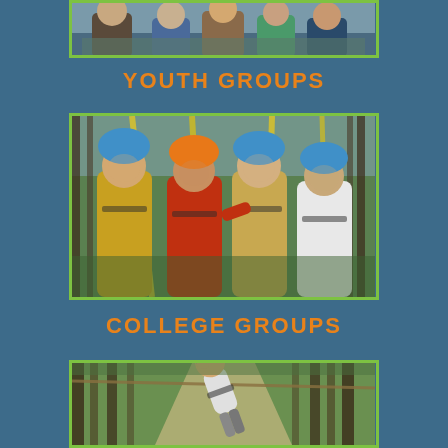[Figure (photo): Group photo at top of page, partially cropped, showing young people in outdoor activity setting, framed with green border]
YOUTH GROUPS
[Figure (photo): Four young people wearing climbing helmets and harnesses holding onto yellow ropes in a forested area, smiling at camera, framed with green border]
COLLEGE GROUPS
[Figure (photo): Person wearing blue helmet on a zipline in a forested path, tilted sideways, framed with green border]